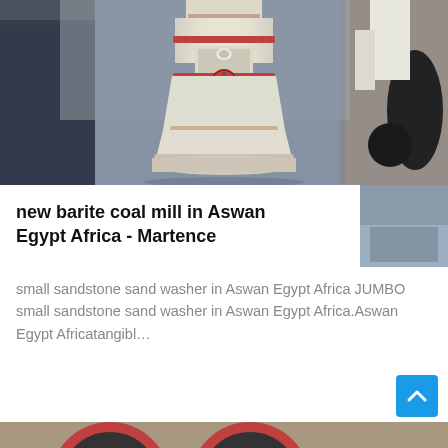[Figure (photo): Industrial cone crusher machine in a factory warehouse setting, cream/beige colored large crushing equipment with red accents, surrounded by other heavy machinery and equipment]
new barite coal mill in Aswan Egypt Africa - Martence
small sandstone sand washer in Aswan Egypt Africa JUMBO small sandstone sand washer in Aswan Egypt Africa.Aswan Egypt Africatangibl…
[Figure (photo): Jaw crusher machine with large red-rimmed wheels/flywheels visible in an industrial warehouse setting]